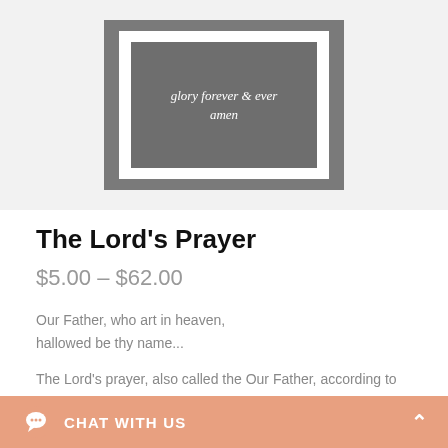[Figure (illustration): A framed art print showing decorative cursive text 'glory forever and ever amen' on a dark gray background with white mat and gray frame]
The Lord’s Prayer
$5.00 – $62.00
Our Father, who art in heaven,
hallowed be thy name...
The Lord’s prayer, also called the Our Father, according to the New Testamate was taught by Jesus to his disciples. The Lord’s Prayer is a popular prayer that should be understood as an example, a pattern, of how to pray. It gives us the “ingredients” that should go into prayer. Let
CHAT WITH US